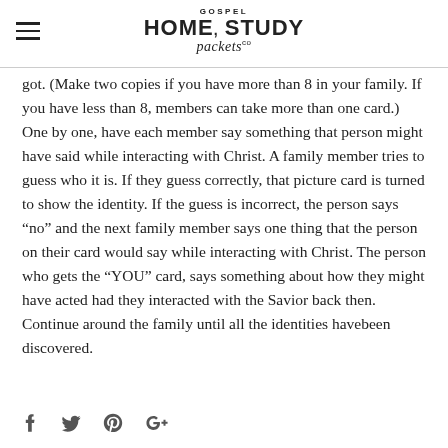GOSPEL HOME STUDY packets co
got. (Make two copies if you have more than 8 in your family. If you have less than 8, members can take more than one card.) One by one, have each member say something that person might have said while interacting with Christ. A family member tries to guess who it is. If they guess correctly, that picture card is turned to show the identity. If the guess is incorrect, the person says “no” and the next family member says one thing that the person on their card would say while interacting with Christ. The person who gets the “YOU” card, says something about how they might have acted had they interacted with the Savior back then. Continue around the family until all the identities havebeen discovered.